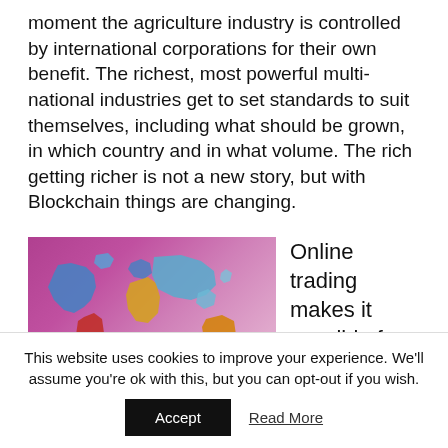moment the agriculture industry is controlled by international corporations for their own benefit. The richest, most powerful multi-national industries get to set standards to suit themselves, including what should be grown, in which country and in what volume. The rich getting richer is not a new story, but with Blockchain things are changing.
[Figure (illustration): Colorful world map on a pink/purple gradient background with caption 'How Cryptocurrency will feed the world']
Online trading makes it possible for even
This website uses cookies to improve your experience. We'll assume you're ok with this, but you can opt-out if you wish.